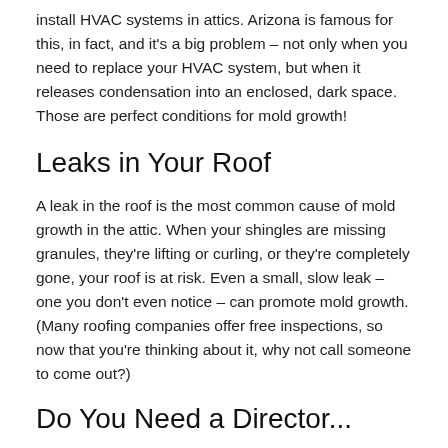install HVAC systems in attics. Arizona is famous for this, in fact, and it's a big problem – not only when you need to replace your HVAC system, but when it releases condensation into an enclosed, dark space. Those are perfect conditions for mold growth!
Leaks in Your Roof
A leak in the roof is the most common cause of mold growth in the attic. When your shingles are missing granules, they're lifting or curling, or they're completely gone, your roof is at risk. Even a small, slow leak – one you don't even notice – can promote mold growth. (Many roofing companies offer free inspections, so now that you're thinking about it, why not call someone to come out?)
Do You Need a Director...